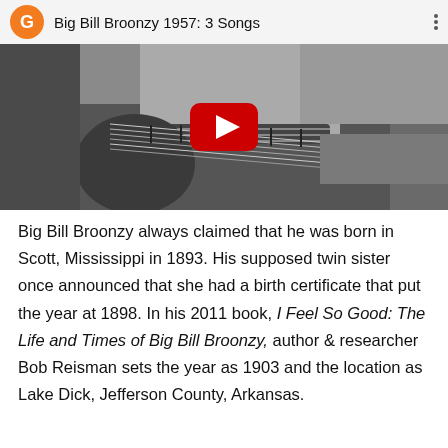[Figure (screenshot): YouTube video thumbnail showing 'Big Bill Broonzy 1957: 3 Songs' with a black-and-white photo of a man playing guitar. The video bar at the top shows a Google 'G' orange avatar icon and the video title. A red YouTube play button is centered on the thumbnail.]
Big Bill Broonzy always claimed that he was born in Scott, Mississippi in 1893. His supposed twin sister once announced that she had a birth certificate that put the year at 1898. In his 2011 book, I Feel So Good: The Life and Times of Big Bill Broonzy, author & researcher Bob Reisman sets the year as 1903 and the location as Lake Dick, Jefferson County, Arkansas.